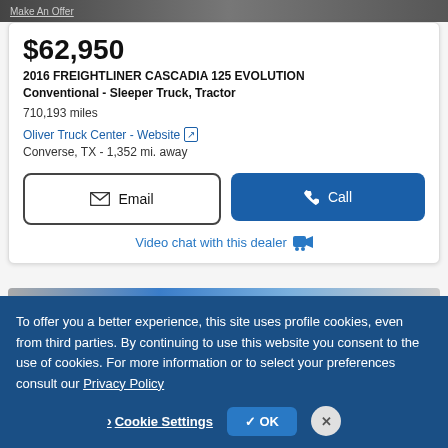[Figure (screenshot): Top portion of a vehicle listing page with 'Make An Offer' link visible on a dark image background]
$62,950
2016 FREIGHTLINER CASCADIA 125 EVOLUTION Conventional - Sleeper Truck, Tractor
710,193 miles
Oliver Truck Center - Website [external link icon]
Converse, TX - 1,352 mi. away
Email [button]
Call [button]
Video chat with this dealer [icon]
[Figure (photo): Partial view of a blue truck cab against a light background]
To offer you a better experience, this site uses profile cookies, even from third parties. By continuing to use this website you consent to the use of cookies. For more information or to select your preferences consult our Privacy Policy
Cookie Settings | OK [button] | X [close button]